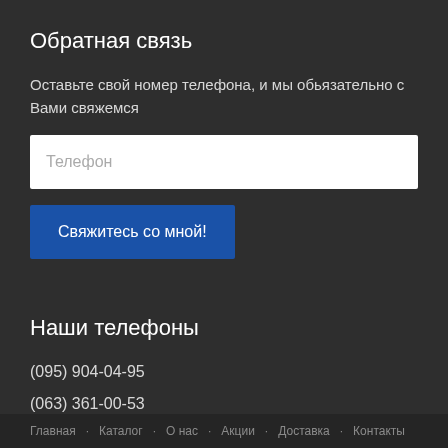Обратная связь
Оставьте свой номер телефона, и мы обьязательно с Вами свяжемся
Телефон
Свяжитесь со мной!
Наши телефоны
(095) 904-04-95
(063) 361-00-53
(044) 229-76-69
(098) 092-82-08
Главная   Каталог   О нас   Акции   Доставка   Контакты